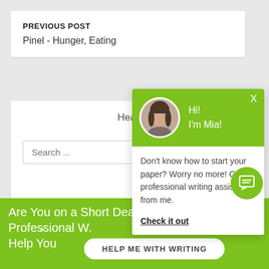PREVIOUS POST
Pinel - Hunger, Eating
Heal
Search ...
[Figure (screenshot): Chat popup with green header showing avatar and 'Hi! I'm Mia!' greeting, body text: Don't know how to start your paper? Worry no more! Get professional writing assistance from me. Check it out]
Are You on a Short Deadline? Let a Professional W. Help You
HELP ME WITH WRITING